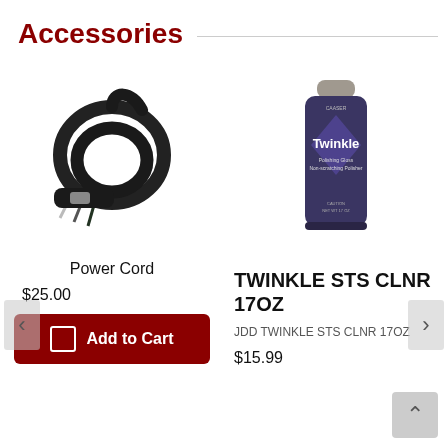Accessories
[Figure (photo): Black power cord with plug ends]
Power Cord
$25.00
Add to Cart
[Figure (photo): Twinkle STS Cleaner 17oz spray can with dark blue label]
TWINKLE STS CLNR 17OZ
JDD TWINKLE STS CLNR 17OZ
$15.99